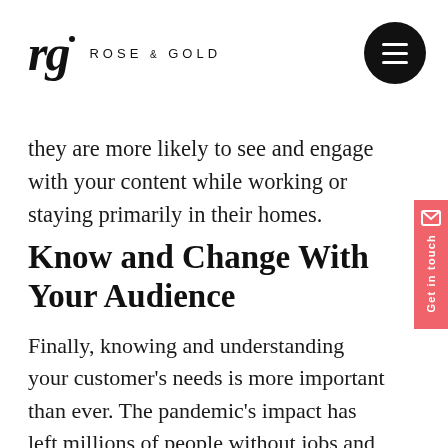rg ROSE & GOLD
they are more likely to see and engage with your content while working or staying primarily in their homes.
Know and Change With Your Audience
Finally, knowing and understanding your customer's needs is more important than ever. The pandemic's impact has left millions of people without jobs and living on less income than they were before the virus hit.